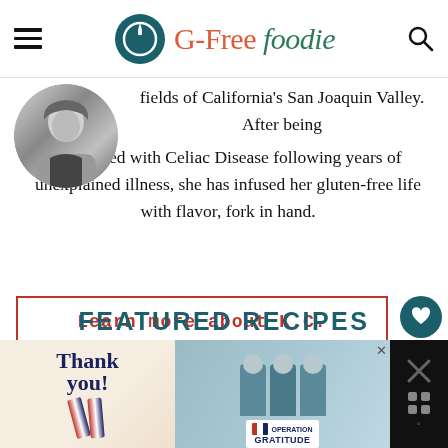G-Free Foodie
[Figure (photo): Circular black and white portrait photo of a woman with long light hair]
fields of California's San Joaquin Valley. After being diagnosed with Celiac Disease following years of unexplained illness, she has infused her gluten-free life with flavor, fork in hand.
Learn more about K.C.
FEATURED RECIPES
[Figure (photo): Advertisement banner: Thank you Operation Gratitude with people in masks holding packages]